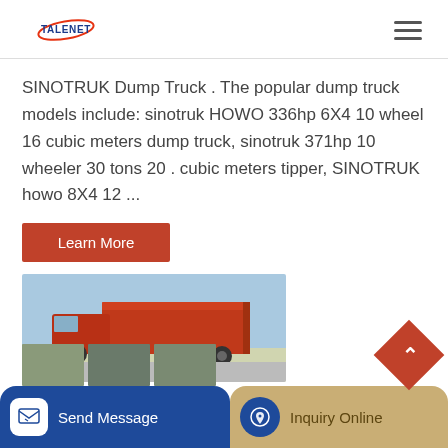TALENET
SINOTRUK Dump Truck . The popular dump truck models include: sinotruk HOWO 336hp 6X4 10 wheel 16 cubic meters dump truck, sinotruk 371hp 10 wheeler 30 tons 20 . cubic meters tipper, SINOTRUK howo 8X4 12 ...
Learn More
[Figure (photo): Red SINOTRUK dump truck photographed against a clear sky background]
Send Message | Inquiry Online